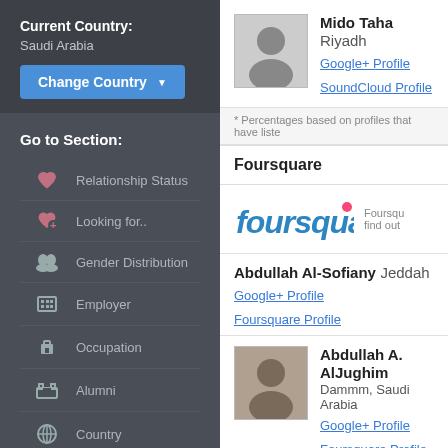Current Country:
Saudi Arabia
Change Country
Go to Section:
Relationship Status
Looking for..
Gender Distribution
Employer
Occupation
Alumni
Country
Mido Taha Riyadh
Google+ Profile
SoundCloud Profile
* Percentages based on profiles that have liste
Foursquare
[Figure (logo): Foursquare logo in blue script font]
Foursqu find out
Abdullah Al-Sofiany Jeddah
Google+ Profile
Foursquare Profile
Abdullah A. AlJughim
Dammm, Saudi Arabia
Google+ Profile
Foursquare Profile
Mohammad Babli Qatif
Arabia